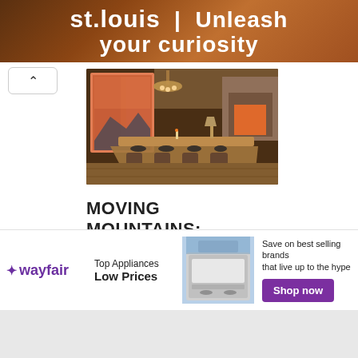[Figure (infographic): Top banner advertisement for St. Louis tourism with text 'st.louis | Unleash your curiosity' on a warm brown/orange background]
[Figure (photo): Interior photo of a luxury mountain vacation home dining room with a long wooden dining table set for many guests, large glass doors showing a mountain view at dusk, stone fireplace, and warm lighting]
MOVING MOUNTAINS: LUXURY VACATION HOME RENTALS IN COLORADO
[Figure (infographic): Wayfair advertisement: 'Top Appliances Low Prices' with image of a range/stove and text 'Save on best selling brands that live up to the hype' with a 'Shop now' purple button]